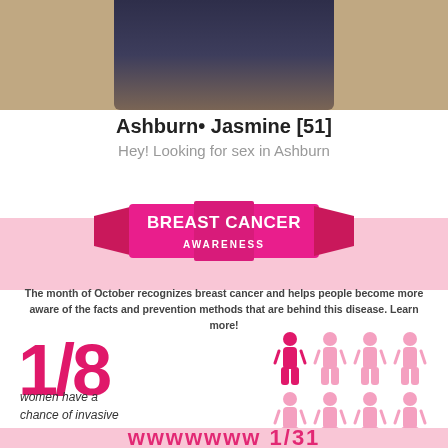[Figure (photo): Partial photo of a person sitting, cropped at the top]
Ashburn• Jasmine [51]
Hey! Looking for sex in Ashburn
[Figure (infographic): Breast Cancer Awareness infographic with ribbon banner, 1/8 women statistic with female figure icons, and pink color scheme]
The month of October recognizes breast cancer and helps people become more aware of the facts and prevention methods that are behind this disease. Learn more!
1/8 women have a chance of invasive breast cancer during a lifetime.*